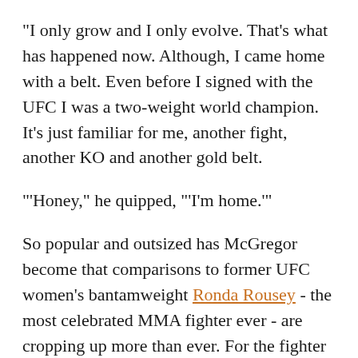"I only grow and I only evolve. That's what has happened now. Although, I came home with a belt. Even before I signed with the UFC I was a two-weight world champion. It's just familiar for me, another fight, another KO and another gold belt.
"'Honey," he quipped, "'I'm home.'"
So popular and outsized has McGregor become that comparisons to former UFC women's bantamweight Ronda Rousey - the most celebrated MMA fighter ever - are cropping up more than ever. For the fighter from Dublin, Ireland, though, he sees himself and her as entirely distinct.
At this point, in fact, McGregor believes there's only him and then everyone else.
"In reality we are two different people on two different